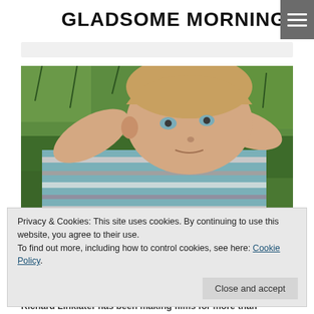GLADSOME MORNING
[Figure (photo): A young boy with light brown hair lying on grass, wearing a striped teal and white shirt, looking upward with hands behind head. Still from the film Boyhood by Richard Linklater.]
Privacy & Cookies: This site uses cookies. By continuing to use this website, you agree to their use.
To find out more, including how to control cookies, see here: Cookie Policy
Richard Linklater has been making films for more than